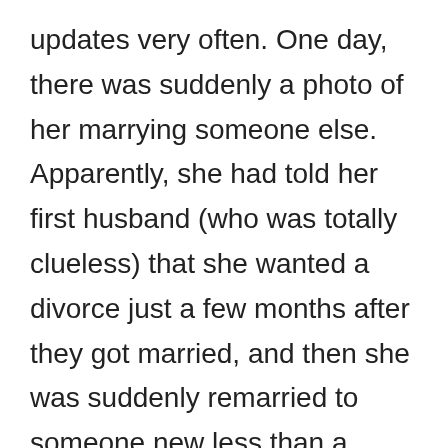updates very often. One day, there was suddenly a photo of her marrying someone else. Apparently, she had told her first husband (who was totally clueless) that she wanted a divorce just a few months after they got married, and then she was suddenly remarried to someone new less than a month later.
They had been middle school sweethearts. They got married right after